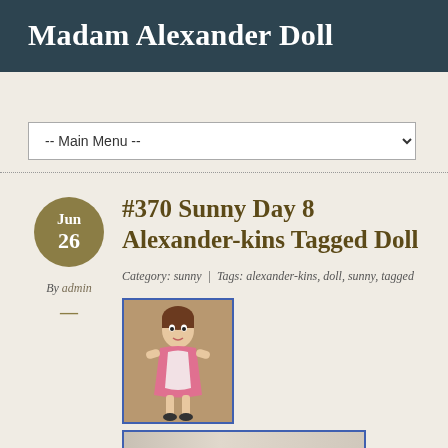Madam Alexander Doll
-- Main Menu --
[Figure (other): Date circle showing Jun 26]
By admin
#370 Sunny Day 8 Alexander-kins Tagged Doll
Category: sunny  |  Tags: alexander-kins, doll, sunny, tagged
[Figure (photo): Small thumbnail photo of a Madam Alexander doll in pink dress with white apron]
[Figure (photo): Wider photo cropped showing doll detail, partially visible at bottom of page]